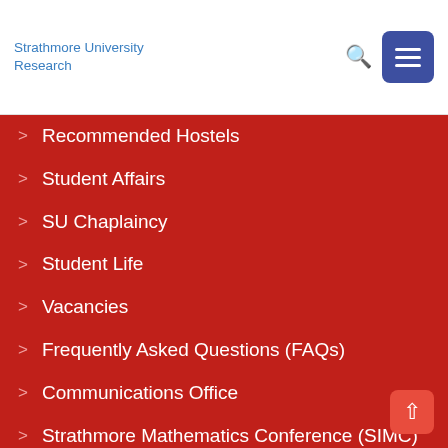Strathmore University Research
Recommended Hostels
Student Affairs
SU Chaplaincy
Student Life
Vacancies
Frequently Asked Questions (FAQs)
Communications Office
Strathmore Mathematics Conference (SIMC)